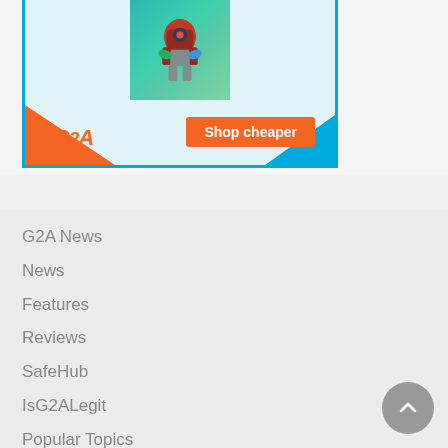[Figure (illustration): G2A advertisement banner with a game character (robot/alien) in teal background, orange G2A logo on bottom left, and 'Shop cheaper' orange button on bottom right. Banner has blue border on sides and bottom.]
G2A News
News
Features
Reviews
SafeHub
IsG2ALegit
Popular Topics
About us